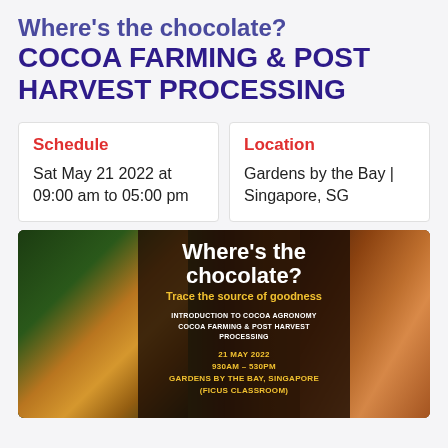Where's the chocolate? COCOA FARMING & POST HARVEST PROCESSING
Schedule
Sat May 21 2022 at 09:00 am to 05:00 pm
Location
Gardens by the Bay | Singapore, SG
[Figure (photo): Event poster for 'Where's the chocolate? Trace the source of goodness' showing cocoa pods on left, cocoa powder on right, and a dark center panel with text about Introduction to Cocoa Agronomy, Cocoa Farming & Post Harvest Processing, 21 May 2022, 930AM-530PM, Gardens by the Bay Singapore (Ficus Classroom)]